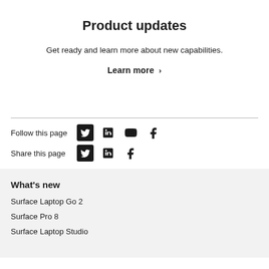Product updates
Get ready and learn more about new capabilities.
Learn more >
Follow this page [Twitter] [LinkedIn] [YouTube] [Facebook]
Share this page [Twitter] [LinkedIn] [Facebook]
What's new
Surface Laptop Go 2
Surface Pro 8
Surface Laptop Studio